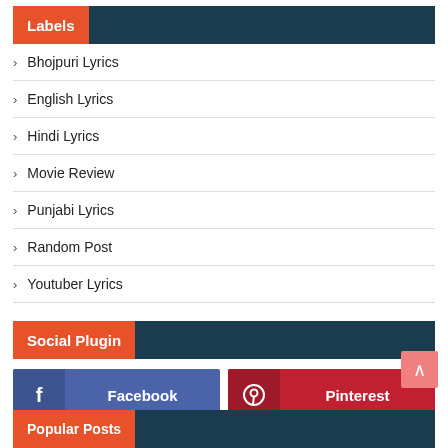Labels
Bhojpuri Lyrics
English Lyrics
Hindi Lyrics
Movie Review
Punjabi Lyrics
Random Post
Youtuber Lyrics
Social Plugin
[Figure (infographic): Facebook and Pinterest social plugin buttons]
Popular Posts